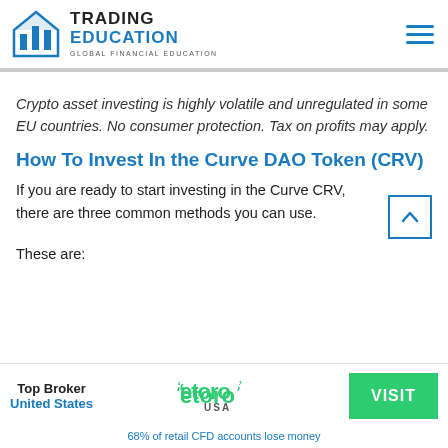TRADING EDUCATION — GLOBAL FINANCIAL EDUCATION
Crypto asset investing is highly volatile and unregulated in some EU countries. No consumer protection. Tax on profits may apply.
How To Invest In the Curve DAO Token (CRV)
If you are ready to start investing in the Curve CRV, there are three common methods you can use.
These are:
[Figure (logo): eToro USA logo]
Top Broker United States — VISIT — 68% of retail CFD accounts lose money